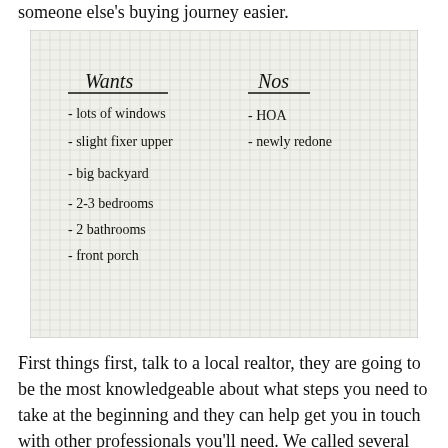someone else’s buying journey easier.
[Figure (photo): A handwritten note on graph paper with two columns: 'Wants' listing - lots of windows, slight fixer upper, big backyard, 2-3 bedrooms, 2 bathrooms, front porch; and 'Nos' listing - HOA, newly redone]
First things first, talk to a local realtor, they are going to be the most knowledgeable about what steps you need to take at the beginning and they can help get you in touch with other professionals you’ll need. We called several realtors because we wanted to make sure that we went with someone that made a great